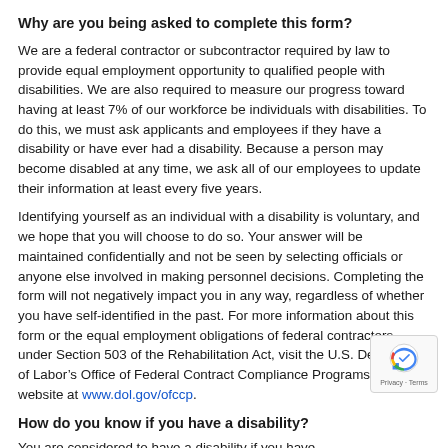Why are you being asked to complete this form?
We are a federal contractor or subcontractor required by law to provide equal employment opportunity to qualified people with disabilities. We are also required to measure our progress toward having at least 7% of our workforce be individuals with disabilities. To do this, we must ask applicants and employees if they have a disability or have ever had a disability. Because a person may become disabled at any time, we ask all of our employees to update their information at least every five years.
Identifying yourself as an individual with a disability is voluntary, and we hope that you will choose to do so. Your answer will be maintained confidentially and not be seen by selecting officials or anyone else involved in making personnel decisions. Completing the form will not negatively impact you in any way, regardless of whether you have self-identified in the past. For more information about this form or the equal employment obligations of federal contractors under Section 503 of the Rehabilitation Act, visit the U.S. Department of Labor’s Office of Federal Contract Compliance Programs (OFCCP) website at www.dol.gov/ofccp.
How do you know if you have a disability?
You are considered to have a disability if you have...